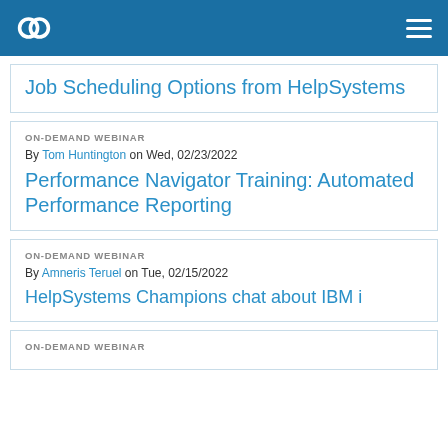HelpSystems
Job Scheduling Options from HelpSystems
ON-DEMAND WEBINAR
By Tom Huntington on Wed, 02/23/2022
Performance Navigator Training: Automated Performance Reporting
ON-DEMAND WEBINAR
By Amneris Teruel on Tue, 02/15/2022
HelpSystems Champions chat about IBM i
ON-DEMAND WEBINAR